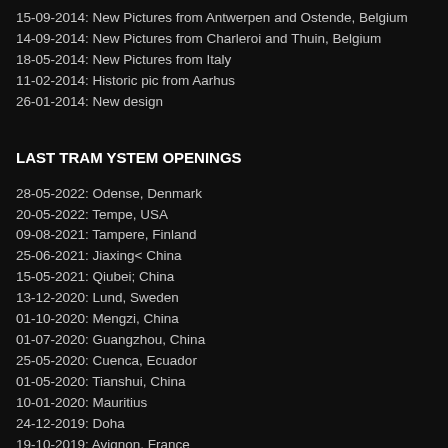15-09-2014: New Pictures from Antwerpen and Ostende, Belgium
14-09-2014: New Pictures from Charleroi and Thuin, Belgium
18-05-2014: New Pictures from Italy
11-02-2014: Historic pic from Aarhus
26-01-2014: New design
LAST TRAM YSTEM OPENINGS
28-05-2022: Odense, Denmark
20-05-2022: Tempe, USA
09-08-2021: Tampere, Finland
25-06-2021: Jiaxing< China
15-05-2021: Qiubei; China
13-12-2020: Lund, Sweden
01-10-2020: Mengzi, China
01-07-2020: Guangzhou, China
25-05-2020: Cuenca, Ecuador
01-05-2020: Tianshui, China
10-01-2020: Mauritius
24-12-2019: Doha
19-10-2019: Avignon, France
14-09-2019: Ottawa, Canada
27-07-2019: Caen, France